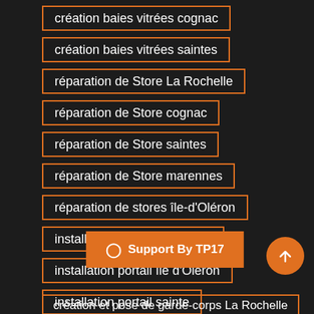création baies vitrées cognac
création baies vitrées saintes
réparation de Store La Rochelle
réparation de Store cognac
réparation de Store saintes
réparation de Store marennes
réparation de stores île-d'Oléron
installation portail marennes
installation portail île d'Oléron
installation portail sainte
installation portail cognac
installation port…
création et pose de garde-corps La Rochelle